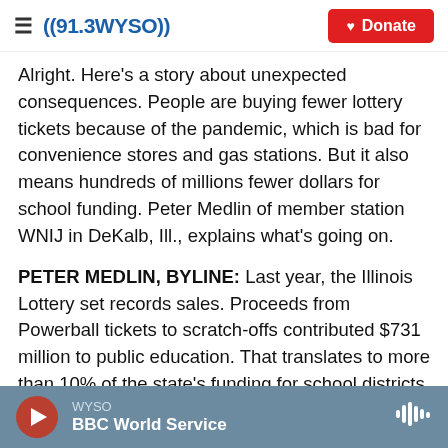((91.3WYSO)) | Donate
Alright. Here's a story about unexpected consequences. People are buying fewer lottery tickets because of the pandemic, which is bad for convenience stores and gas stations. But it also means hundreds of millions fewer dollars for school funding. Peter Medlin of member station WNIJ in DeKalb, Ill., explains what's going on.
PETER MEDLIN, BYLINE: Last year, the Illinois Lottery set records sales. Proceeds from Powerball tickets to scratch-offs contributed $731 million to public education. That translates to more than 10% of the state's funding for school districts. But the
WYSO | BBC World Service